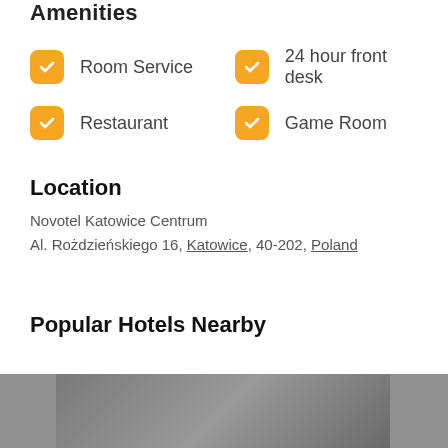Amenities
Room Service
24 hour front desk
Restaurant
Game Room
Location
Novotel Katowice Centrum
Al. Rożdzieńskiego 16, Katowice, 40-202, Poland
Popular Hotels Nearby
[Figure (photo): Hotel thumbnail images showing popular nearby hotels]